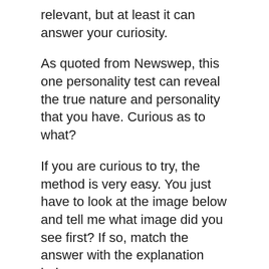relevant, but at least it can answer your curiosity.
As quoted from Newswep, this one personality test can reveal the true nature and personality that you have. Curious as to what?
If you are curious to try, the method is very easy. You just have to look at the image below and tell me what image did you see first? If so, match the answer with the explanation below.
Personality Test Photo: Newswep
Dog